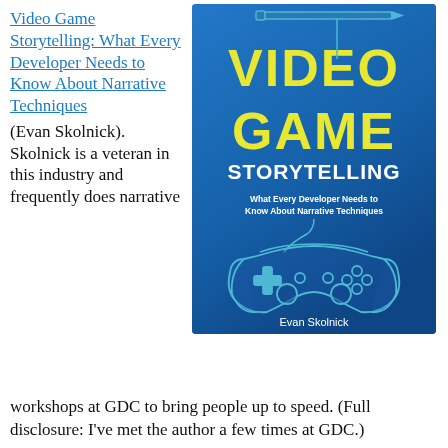Video Game Storytelling: What Every Developer Needs to Know About Narrative Techniques
(Evan Skolnick). Skolnick is a veteran in this industry and frequently does narrative workshops at GDC to bring people up to speed. (Full disclosure: I've met the author a few times at GDC.)
[Figure (illustration): Book cover of 'Video Game Storytelling: What Every Developer Needs to Know About Narrative Techniques' by Evan Skolnick. Blue background with yellow large text 'VIDEO GAME STORYTELLING', subtitle in white, and a game controller illustration in outline style.]